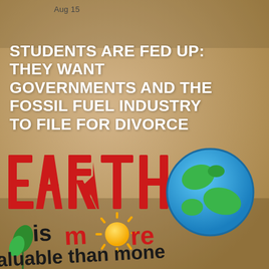Aug 15
[Figure (photo): A close-up photograph of a cardboard protest sign painted with the words 'EARTH is more valuable than money' in large red and black letters, with a hand-drawn globe showing blue oceans and green continents in the upper right, a green leaf on the left, and a yellow sun in the letter 'o' of 'more'. The background is a warm tan/beige cardboard color.]
STUDENTS ARE FED UP: THEY WANT GOVERNMENTS AND THE FOSSIL FUEL INDUSTRY TO FILE FOR DIVORCE